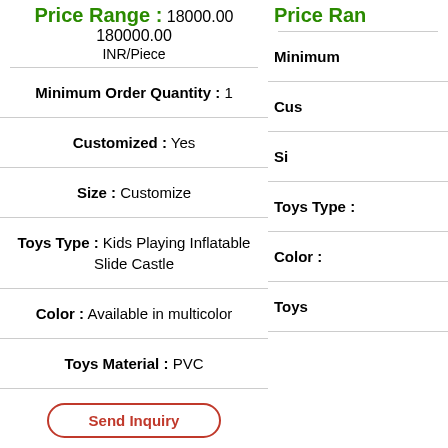Price Range : 18000.00 180000.00 INR/Piece
Minimum Order Quantity : 1
Customized : Yes
Size : Customize
Toys Type : Kids Playing Inflatable Slide Castle
Color : Available in multicolor
Toys Material : PVC
Price Ran...
Minimum
Cus...
Si...
Toys Type :
Color :
Toys